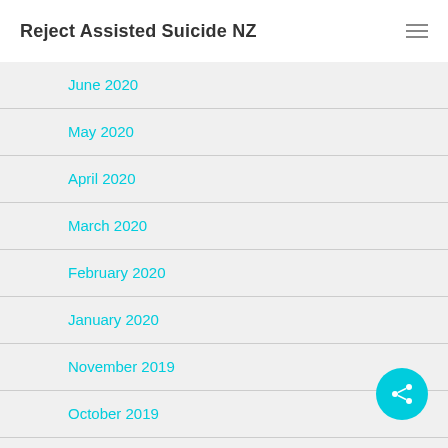Reject Assisted Suicide NZ
June 2020
May 2020
April 2020
March 2020
February 2020
January 2020
November 2019
October 2019
September 2019
August 2019